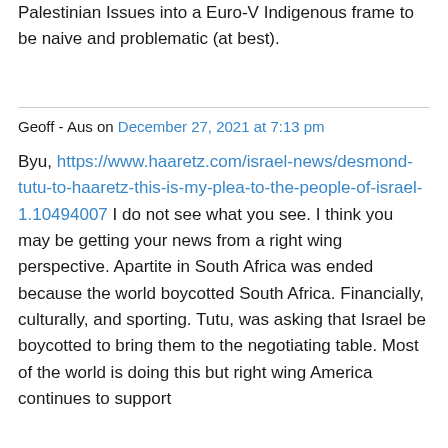Palestinian Issues into a Euro-V Indigenous frame to be naive and problematic (at best).
Geoff - Aus on December 27, 2021 at 7:13 pm
Byu, https://www.haaretz.com/israel-news/desmond-tutu-to-haaretz-this-is-my-plea-to-the-people-of-israel-1.10494007 I do not see what you see. I think you may be getting your news from a right wing perspective. Apartite in South Africa was ended because the world boycotted South Africa. Financially, culturally, and sporting. Tutu, was asking that Israel be boycotted to bring them to the negotiating table. Most of the world is doing this but right wing America continues to support